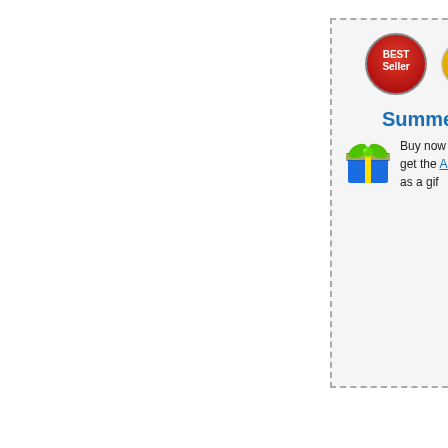[Figure (infographic): Promotional box with dashed border containing Best Seller badge, FREE SHIPPING badge, gift box icon, and Summer promotion text about buying with $85 and getting Accessory Package as a gift]
Summer - Buy now with a $85 get the Accessory Package as a gift
[Figure (photo): A hand holding a small portable electronic dictionary/translator device (ECTACO brand) with a color touchscreen displaying app icons and a small QWERTY keyboard]
[Figure (photo): Bottom portion of a ECTACO scanner/reader device shown at the bottom of the page]